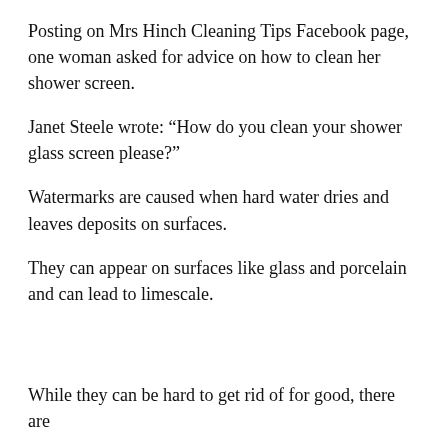Posting on Mrs Hinch Cleaning Tips Facebook page, one woman asked for advice on how to clean her shower screen.
Janet Steele wrote: “How do you clean your shower glass screen please?”
Watermarks are caused when hard water dries and leaves deposits on surfaces.
They can appear on surfaces like glass and porcelain and can lead to limescale.
While they can be hard to get rid of for good, there are